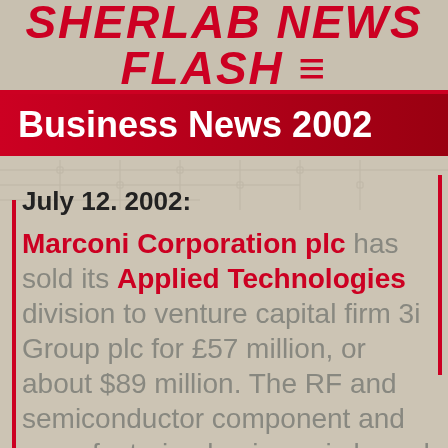Sherlab News Flash
Business News 2002
July 12. 2002: Marconi Corporation plc has sold its Applied Technologies division to venture capital firm 3i Group plc for £57 million, or about $89 million. The RF and semiconductor component and manufacturing business is based in Chelmsford,